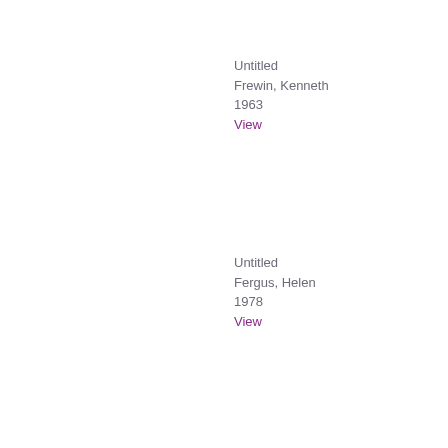Untitled
Frewin, Kenneth
1963
View
Untitled
Fergus, Helen
1978
View